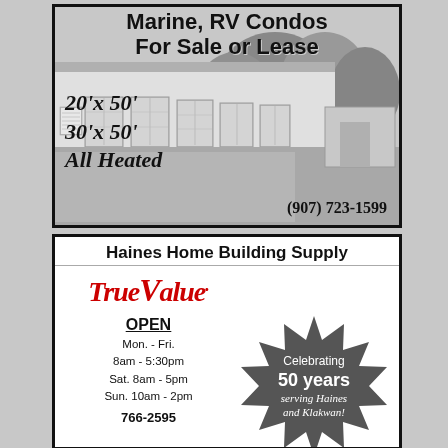[Figure (infographic): Top advertisement for Marine, RV Condos For Sale or Lease showing a row of storage condos with trees in background. Text overlay: 20'x 50', 30'x 50', All Heated, (907) 723-1599]
[Figure (infographic): Bottom advertisement for Haines Home Building Supply True Value hardware store. Shows True Value logo in red italic script, OPEN hours (Mon-Fri 8am-5:30pm, Sat 8am-5pm, Sun 10am-2pm), phone 766-2595, and a starburst badge reading 'Celebrating 50 years serving Haines and Klakwan!']